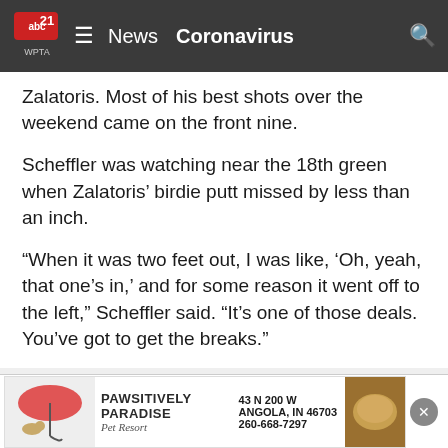abc21 WPTA | News  Coronavirus
Zalatoris. Most of his best shots over the weekend came on the front nine.
Scheffler was watching near the 18th green when Zalatoris' birdie putt missed by less than an inch.
“When it was two feet out, I was like, ‘Oh, yeah, that one’s in,’ and for some reason it went off to the left,” Scheffler said. “It’s one of those deals. You’ve got to get the breaks.”
ADVERTISEMENT
[Figure (other): Heritage Pointe of Huntington advertisement banner: Physical, Occupational & Speech Therapy]
[Figure (other): Pawsitively Paradise Pet Resort advertisement: 43 N 200 W Angola, IN 46703, 260-668-7297]
On this  ... e was none b...